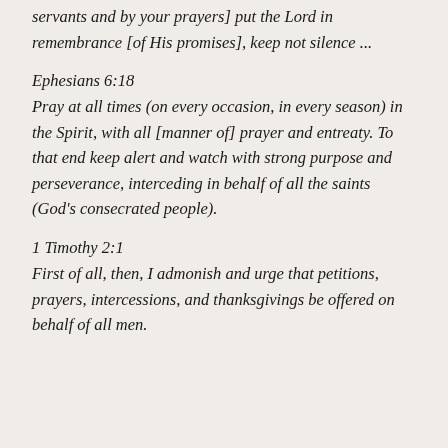servants and by your prayers] put the Lord in remembrance [of His promises], keep not silence ...
Ephesians 6:18
Pray at all times (on every occasion, in every season) in the Spirit, with all [manner of] prayer and entreaty. To that end keep alert and watch with strong purpose and perseverance, interceding in behalf of all the saints (God's consecrated people).
1 Timothy 2:1
First of all, then, I admonish and urge that petitions, prayers, intercessions, and thanksgivings be offered on behalf of all men.